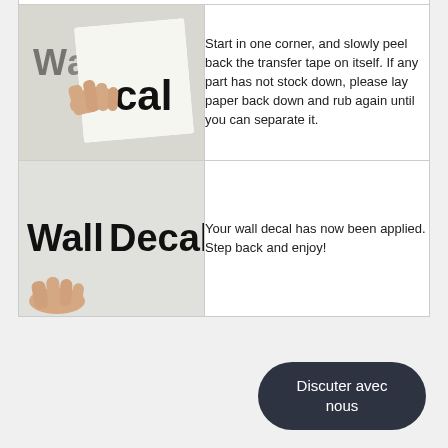[Figure (photo): Photo of a hand peeling back transfer tape from a wall decal showing partial text 'Wall Decal']
Start in one corner, and slowly peel back the transfer tape on itself. If any part has not stock down, please lay paper back down and rub again until you can separate it.
[Figure (photo): Photo of finished wall decal reading 'Wall Decal' applied to a wall with a hand visible at the bottom left]
Your wall decal has now been applied. Step back and enjoy!
Discuter avec nous